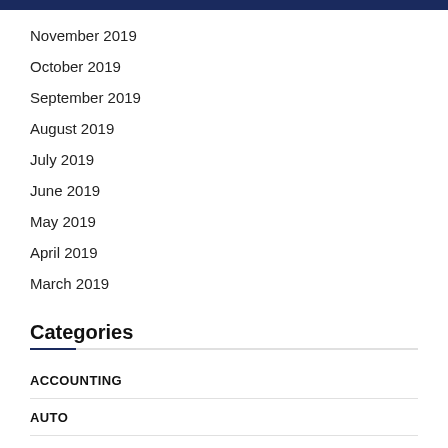November 2019
October 2019
September 2019
August 2019
July 2019
June 2019
May 2019
April 2019
March 2019
Categories
ACCOUNTING
AUTO
BUSINESS